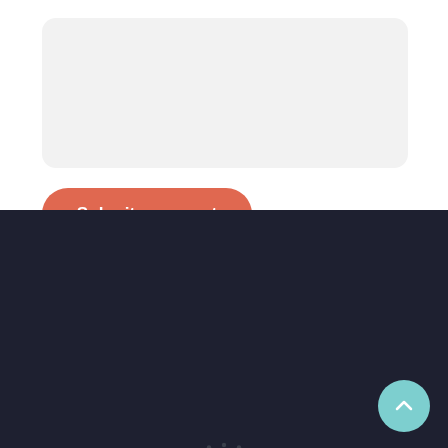[Figure (other): Text input / comment box area (light gray rounded rectangle)]
[Figure (other): Submit comment button — salmon/coral rounded pill button with white bold text]
[Figure (logo): Canada government logo: circular wreath of dots with red maple leaf circle in center, 'CANADA' text in dark red spaced lettering below]
24/7 quality residential and comercial services.
Quick links